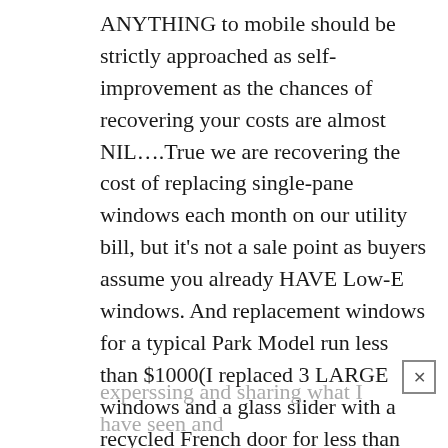ANYTHING to mobile should be strictly approached as self-improvement as the chances of recovering your costs are almost NIL….True we are recovering the cost of replacing single-pane windows each month on our utility bill, but it's not a sale point as buyers assume you already HAVE Low-E windows. And replacement windows for a typical Park Model run less than $1000(I replaced 3 LARGE windows and a glass slider with a recycled French door for less than $800(including Labor) but I got lucky finding an honest and talented Handyman. To James D I must seem like a blowhard, but I have been in this specific area(small Homes) for 70 years and get exasperated
experssing and sharing what I have seen and